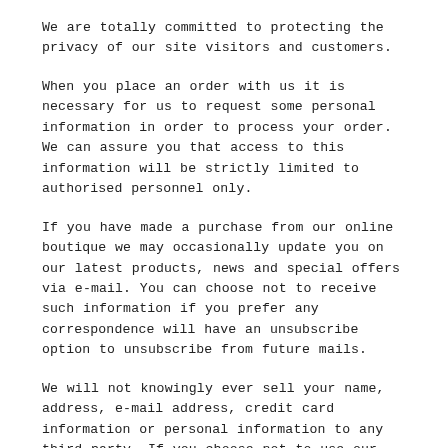We are totally committed to protecting the privacy of our site visitors and customers.
When you place an order with us it is necessary for us to request some personal information in order to process your order. We can assure you that access to this information will be strictly limited to authorised personnel only.
If you have made a purchase from our online boutique we may occasionally update you on our latest products, news and special offers via e-mail. You can choose not to receive such information if you prefer any correspondence will have an unsubscribe option to unsubscribe from future mails.
We will not knowingly ever sell your name, address, e-mail address, credit card information or personal information to any third party. If you choose not to use our secure website and send us your credit card details directly we cannot be responsible for the manner in which